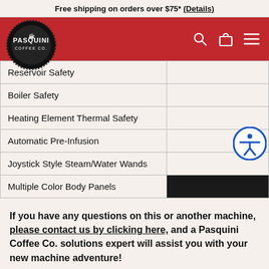Free shipping on orders over $75* (Details)
[Figure (logo): Pasquini Coffee Co. circular logo in black and white with navigation bar icons (search, bag, menu) on red background]
| Reservoir Safety |  |
| Boiler Safety |  |
| Heating Element Thermal Safety |  |
| Automatic Pre-Infusion |  |
| Joystick Style Steam/Water Wands |  |
| Multiple Color Body Panels |  |
If you have any questions on this or another machine, please contact us by clicking here, and a Pasquini Coffee Co. solutions expert will assist you with your new machine adventure!